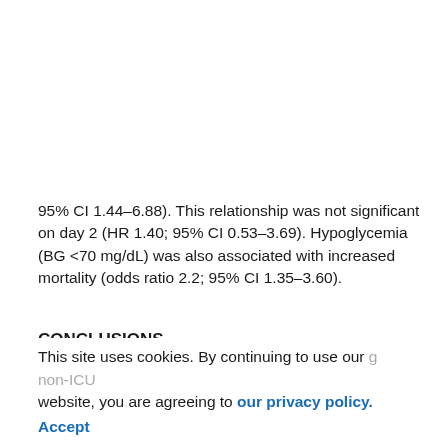95% CI 1.44–6.88). This relationship was not significant on day 2 (HR 1.40; 95% CI 0.53–3.69). Hypoglycemia (BG <70 mg/dL) was also associated with increased mortality (odds ratio 2.2; 95% CI 1.35–3.60).
CONCLUSIONS
Both hyperglycemia and hypoglycemia were associated with poor outcomes in patients with COVID-19. Admission glucose was a strong predictor of death among patients directly admitted to the ICU. Severe hyperglycemia after admission was associated with increased mortality among non-ICU
This site uses cookies. By continuing to use our website, you are agreeing to our privacy policy. Accept